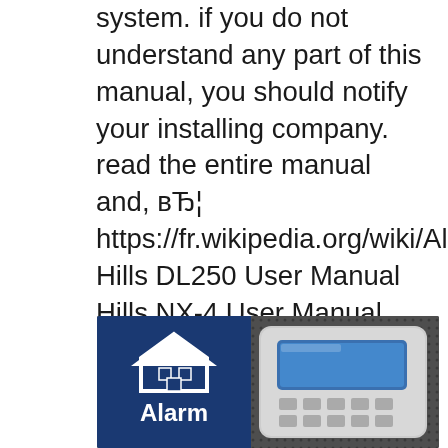system. if you do not understand any part of this manual, you should notify your installing company. read the entire manual and, вЂ¦ https://fr.wikipedia.org/wiki/Alarme Hills DL250 User Manual Hills NX-4 User Manual Hills NX-148 User Manual Hills NX16 User Manual Remember if you need further help with your system and the Hills alarm manuals donвЂ™t provide the answer we offer a cost effective Alarm Repairs Service. to help you keep your alarm system in working order and help you get the most from your security.
[Figure (photo): Photo of an alarm system keypad with a Hills Alarm logo on the left showing a house icon and 'Alarm' text. The keypad is grey/silver with a blue display screen, set against a dark dotted background.]